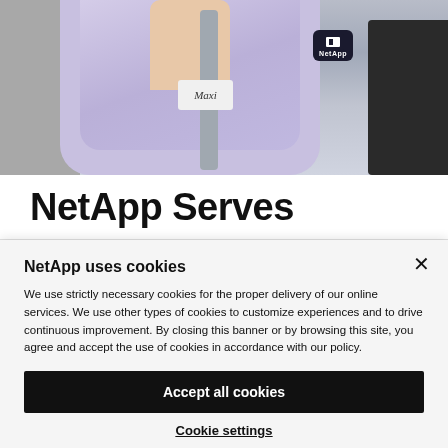[Figure (photo): Person wearing a lavender/purple NetApp branded hoodie, holding something, with a NetApp logo badge visible. Dark storage box visible on right side, gray wall on left.]
NetApp Serves
NetApp uses cookies
We use strictly necessary cookies for the proper delivery of our online services. We use other types of cookies to customize experiences and to drive continuous improvement. By closing this banner or by browsing this site, you agree and accept the use of cookies in accordance with our policy.
Accept all cookies
Cookie settings